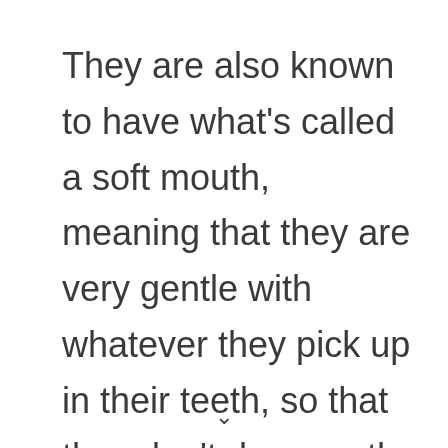They are also known to have what's called a soft mouth, meaning that they are very gentle with whatever they pick up in their teeth, so that they don't damage the birds they retrieve.